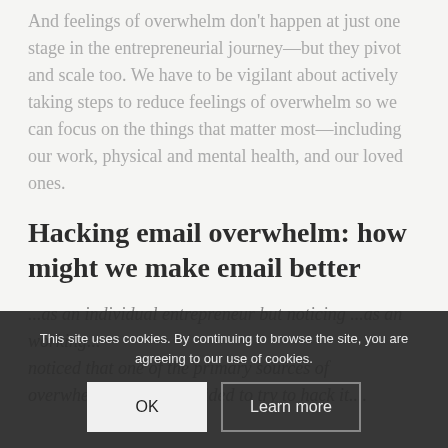And feelings of overwhelm don't happen at just one stage in the entrepreneurial journey—but they pivot and scale too. We have to be vigilant about actively taking steps to reduce feelings of overwhelm so we can focus on the things that matter most—including our work, physical and mental health, and our loved ones.
Hacking email overwhelm: how might we make email better
...as an individual entrepreneur but noticing ...as an working... noticed that one of the primary sources of overwhelm...email... decided to try to hack it...
This site uses cookies. By continuing to browse the site, you are agreeing to our use of cookies.